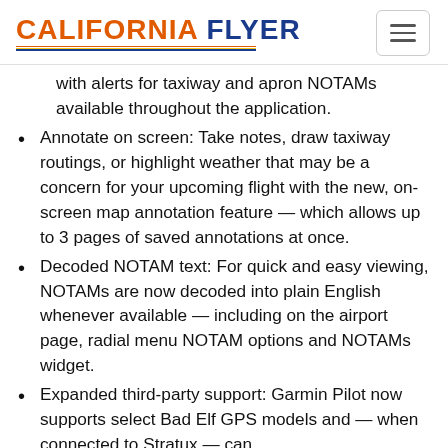CALIFORNIA FLYER
with alerts for taxiway and apron NOTAMs available throughout the application.
Annotate on screen: Take notes, draw taxiway routings, or highlight weather that may be a concern for your upcoming flight with the new, on-screen map annotation feature — which allows up to 3 pages of saved annotations at once.
Decoded NOTAM text: For quick and easy viewing, NOTAMs are now decoded into plain English whenever available — including on the airport page, radial menu NOTAM options and NOTAMs widget.
Expanded third-party support: Garmin Pilot now supports select Bad Elf GPS models and — when connected to Stratux — can